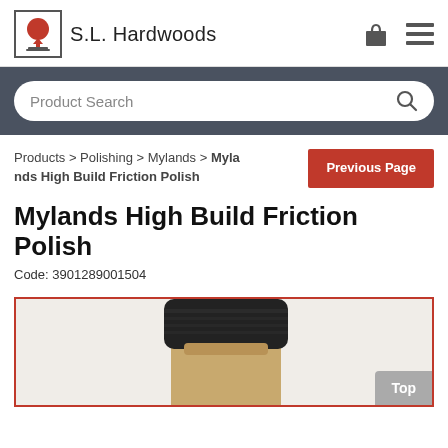S.L. Hardwoods
Product Search
Products > Polishing > Mylands > Mylands High Build Friction Polish
Previous Page
Mylands High Build Friction Polish
Code: 3901289001504
[Figure (photo): Top view of a product bottle (Mylands High Build Friction Polish) showing the bottle cap and upper portion, partially visible, inside a red-bordered frame.]